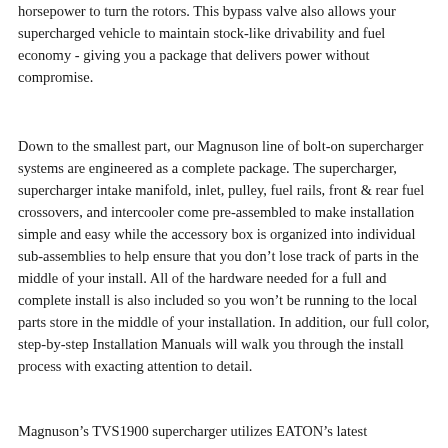horsepower to turn the rotors. This bypass valve also allows your supercharged vehicle to maintain stock-like drivability and fuel economy - giving you a package that delivers power without compromise.
Down to the smallest part, our Magnuson line of bolt-on supercharger systems are engineered as a complete package. The supercharger, supercharger intake manifold, inlet, pulley, fuel rails, front & rear fuel crossovers, and intercooler come pre-assembled to make installation simple and easy while the accessory box is organized into individual sub-assemblies to help ensure that you don't lose track of parts in the middle of your install. All of the hardware needed for a full and complete install is also included so you won't be running to the local parts store in the middle of your installation. In addition, our full color, step-by-step Installation Manuals will walk you through the install process with exacting attention to detail.
Magnuson's TVS1900 supercharger utilizes EATON's latest